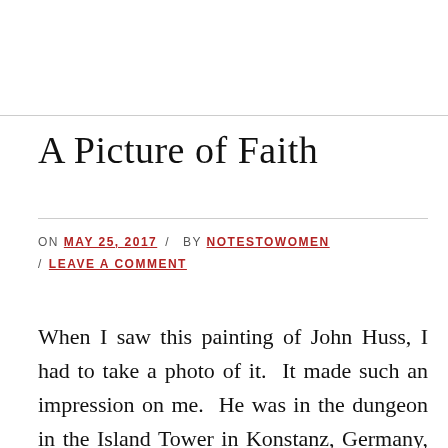A Picture of Faith
ON MAY 25, 2017 / BY NOTESTOWOMEN / LEAVE A COMMENT
When I saw this painting of John Huss, I had to take a photo of it. It made such an impression on me. He was in the dungeon in the Island Tower in Konstanz, Germany, confined with fetters on his legs, hardly able to walk, yet his dedication to the